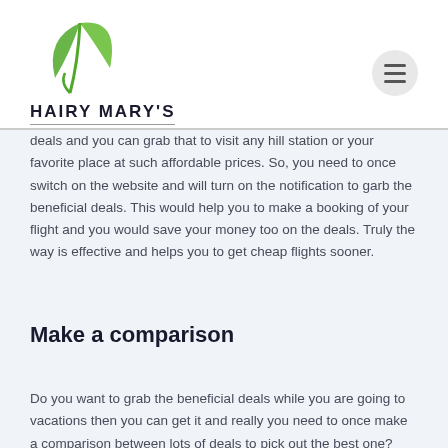HAIRY MARY'S
deals and you can grab that to visit any hill station or your favorite place at such affordable prices. So, you need to once switch on the website and will turn on the notification to garb the beneficial deals. This would help you to make a booking of your flight and you would save your money too on the deals. Truly the way is effective and helps you to get cheap flights sooner.
Make a comparison
Do you want to grab the beneficial deals while you are going to vacations then you can get it and really you need to once make a comparison between lots of deals to pick out the best one? Even you can check which airline offer